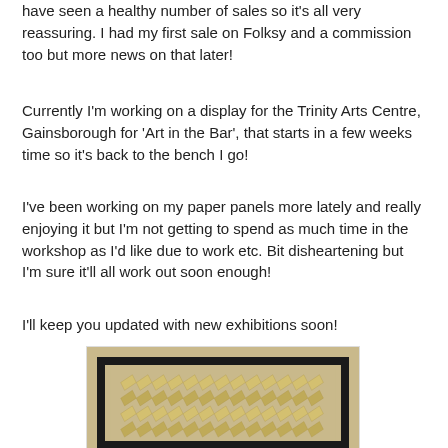have seen a healthy number of sales so it's all very reassuring. I had my first sale on Folksy and a commission too but more news on that later!
Currently I'm working on a display for the Trinity Arts Centre, Gainsborough for 'Art in the Bar', that starts in a few weeks time so it's back to the bench I go!
I've been working on my paper panels more lately and really enjoying it but I'm not getting to spend as much time in the workshop as I'd like due to work etc. Bit disheartening but I'm sure it'll all work out soon enough!
I'll keep you updated with new exhibitions soon!
[Figure (photo): A framed paper panel artwork with a golden/beige background, showing a repeating chevron/herringbone pattern made from folded paper pieces arranged in rows, mounted in a dark brown/black frame.]